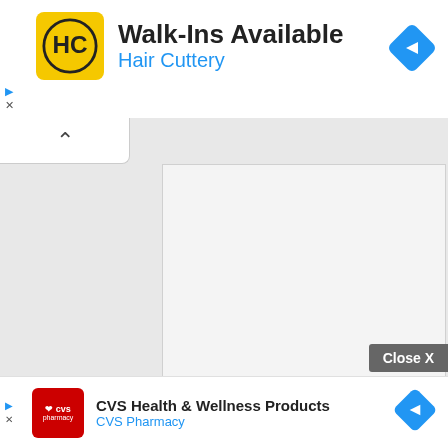[Figure (screenshot): Hair Cuttery advertisement banner with yellow HC logo, title 'Walk-Ins Available', subtitle 'Hair Cuttery', and blue navigation diamond icon]
[Figure (screenshot): Collapsed/minimized content area showing a white box panel with chevron-up button]
Life/Entertain	8/19/2022, 5:11:15 PM
The Hydrology Bureau of the Yangtze River Committee of the Ministry of Water Resources: The low water level is due to the low precipitation in the upper reaches, resulting in less water inflow
[Figure (screenshot): CVS Health & Wellness Products advertisement banner with CVS pharmacy logo and blue navigation diamond icon]